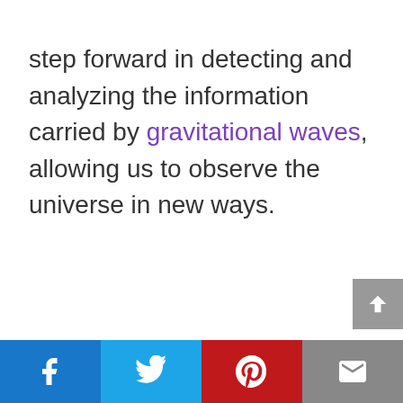step forward in detecting and analyzing the information carried by gravitational waves, allowing us to observe the universe in new ways.